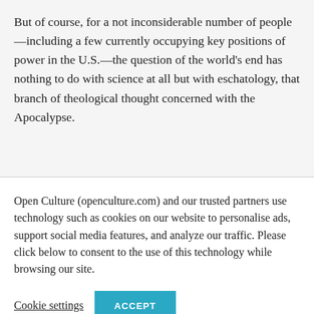But of course, for a not inconsiderable number of people—including a few currently occupying key positions of power in the U.S.—the question of the world's end has nothing to do with science at all but with eschatology, that branch of theological thought concerned with the Apocalypse.
Open Culture (openculture.com) and our trusted partners use technology such as cookies on our website to personalise ads, support social media features, and analyze our traffic. Please click below to consent to the use of this technology while browsing our site.
Cookie settings | ACCEPT